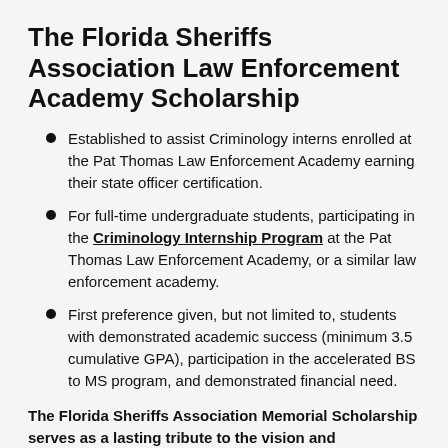The Florida Sheriffs Association Law Enforcement Academy Scholarship
Established to assist Criminology interns enrolled at the Pat Thomas Law Enforcement Academy earning their state officer certification.
For full-time undergraduate students, participating in the Criminology Internship Program at the Pat Thomas Law Enforcement Academy, or a similar law enforcement academy.
First preference given, but not limited to, students with demonstrated academic success (minimum 3.5 cumulative GPA), participation in the accelerated BS to MS program, and demonstrated financial need.
The Florida Sheriffs Association Memorial Scholarship serves as a lasting tribute to the vision and commitment